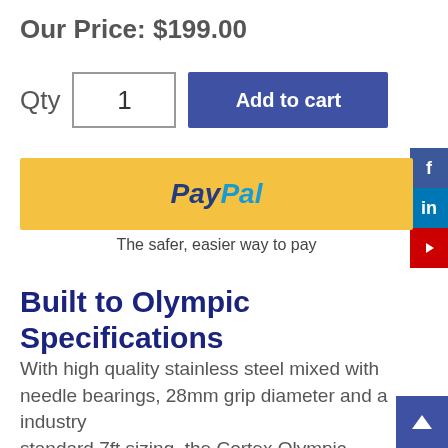Our Price: $199.00
Qty  1  Add to cart
[Figure (other): PayPal payment button with yellow background and PayPal logo]
The safer, easier way to pay
Built to Olympic Specifications
With high quality stainless steel mixed with needle bearings, 28mm grip diameter and a industry standard 7ft sizing, the Cortex Olympic Barbell